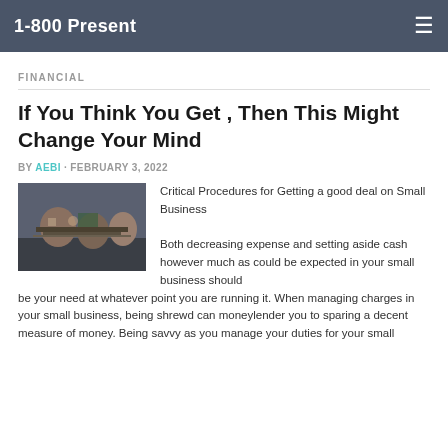1-800 Present
FINANCIAL
If You Think You Get , Then This Might Change Your Mind
BY AEBI · FEBRUARY 3, 2022
[Figure (photo): People working around a table in a small business or workshop setting]
Critical Procedures for Getting a good deal on Small Business

Both decreasing expense and setting aside cash however much as could be expected in your small business should be your need at whatever point you are running it. When managing charges in your small business, being shrewd can moneylender you to sparing a decent measure of money. Being savvy as you manage your duties for your small